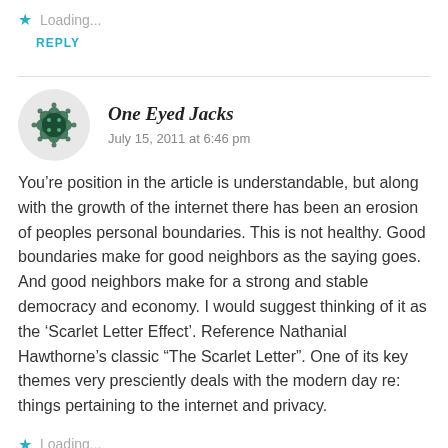Loading...
REPLY
One Eyed Jacks
July 15, 2011 at 6:46 pm
You’re position in the article is understandable, but along with the growth of the internet there has been an erosion of peoples personal boundaries. This is not healthy. Good boundaries make for good neighbors as the saying goes. And good neighbors make for a strong and stable democracy and economy. I would suggest thinking of it as the ‘Scarlet Letter Effect’. Reference Nathanial Hawthorne’s classic “The Scarlet Letter”. One of its key themes very presciently deals with the modern day re: things pertaining to the internet and privacy.
Loading...